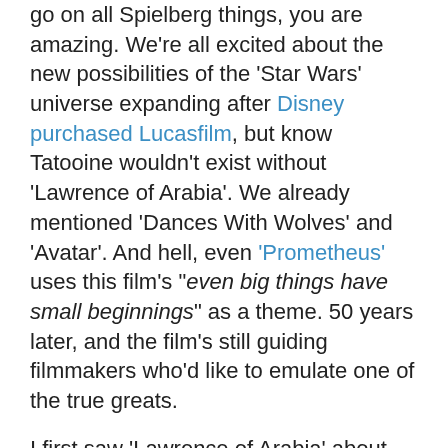go on all Spielberg things, you are amazing. We're all excited about the new possibilities of the 'Star Wars' universe expanding after Disney purchased Lucasfilm, but know Tatooine wouldn't exist without 'Lawrence of Arabia'. We already mentioned 'Dances With Wolves' and 'Avatar'. And hell, even 'Prometheus' uses this film's "even big things have small beginnings" as a theme. 50 years later, and the film's still guiding filmmakers who'd like to emulate one of the true greats.
I first saw 'Lawrence of Arabia' about ten years ago. A 70mm screening at the American Cinematheque where it proceeded to blow doors off my young cinematic mind. It sucks you in and takes you on an unforgettable journey. A true masterpiece. And now we have this absolutely beautiful Blu-ray, rich with